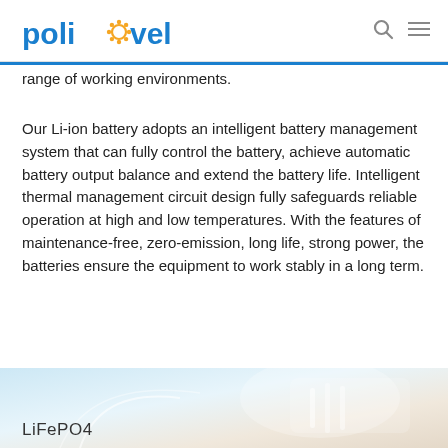POLINOVEL [logo with navigation icons]
range of working environments.
Our Li-ion battery adopts an intelligent battery management system that can fully control the battery, achieve automatic battery output balance and extend the battery life. Intelligent thermal management circuit design fully safeguards reliable operation at high and low temperatures. With the features of maintenance-free, zero-emission, long life, strong power, the batteries ensure the equipment to work stably in a long term.
[Figure (photo): Photo of a LiFePO4 battery product with label overlay showing 'LiFePO4']